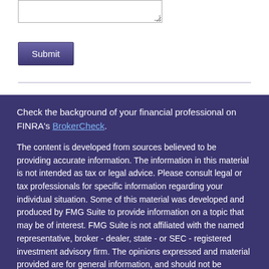[Figure (other): A textarea input box with resize handle in lower right corner]
Submit
Check the background of your financial professional on FINRA's BrokerCheck.
The content is developed from sources believed to be providing accurate information. The information in this material is not intended as tax or legal advice. Please consult legal or tax professionals for specific information regarding your individual situation. Some of this material was developed and produced by FMG Suite to provide information on a topic that may be of interest. FMG Suite is not affiliated with the named representative, broker - dealer, state - or SEC - registered investment advisory firm. The opinions expressed and material provided are for general information, and should not be considered a solicitation for the purchase or sale of any security.